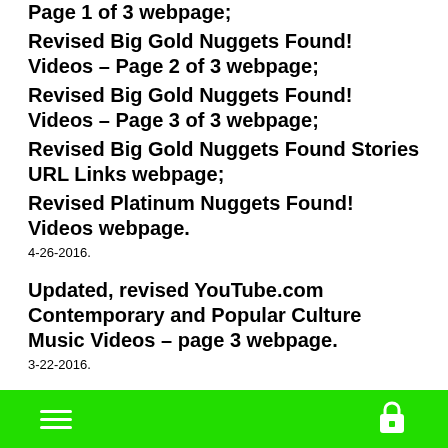Page 1 of 3 webpage;
Revised Big Gold Nuggets Found! Videos – Page 2 of 3 webpage;
Revised Big Gold Nuggets Found! Videos – Page 3 of 3 webpage;
Revised Big Gold Nuggets Found Stories URL Links webpage;
Revised Platinum Nuggets Found! Videos webpage.
4-26-2016.
Updated, revised YouTube.com Contemporary and Popular Culture Music Videos – page 3 webpage.
3-22-2016.